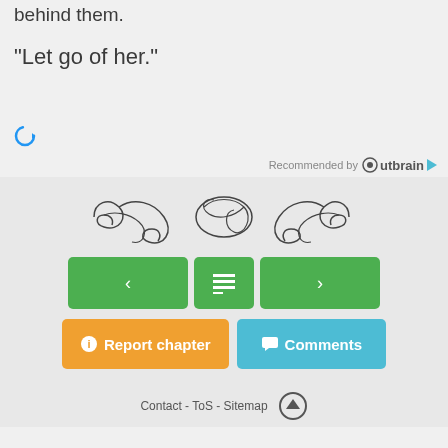behind them.
“Let go of her.”
[Figure (other): Loading spinner icon (blue circular arrow)]
Recommended by Outbrain
[Figure (illustration): Decorative ornamental divider with scrollwork and floral motifs]
[Figure (other): Navigation buttons: left arrow, table of contents, right arrow (green)]
[Figure (other): Action buttons: Report chapter (orange), Comments (blue)]
Contact - ToS - Sitemap